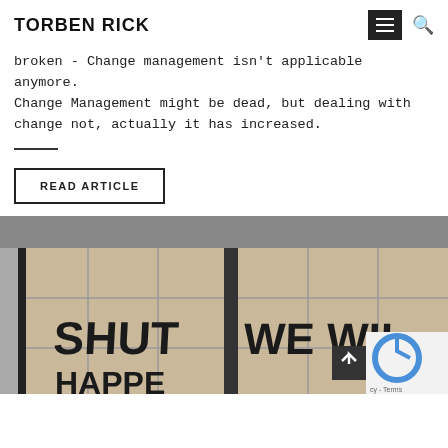TORBEN RICK
broken - Change management isn't applicable anymore. Change Management might be dead, but dealing with change not, actually it has increased.
READ ARTICLE
[Figure (photo): Black and white photo of boarded-up storefront windows with graffiti reading SHUT and WE WILL]